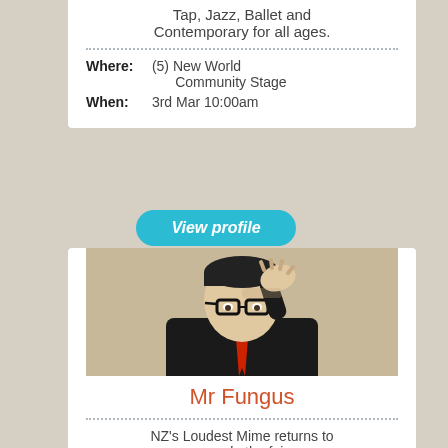Tap, Jazz, Ballet and Contemporary for all ages.
Where: (5) New World Community Stage
When: 3rd Mar 10:00am
View profile
[Figure (photo): Photo of Mr Fungus, a mime artist in black suit and red tie, wearing glasses, with hand raised to forehead]
Mr Fungus
NZ's Loudest Mime returns to sample the fair
Where: (8) McDonalds Buskers Pitch
When: 3rd Mar 1:00pm